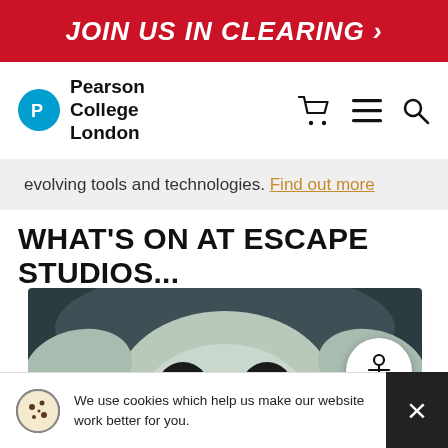JOIN US IN CLEARING >
[Figure (logo): Pearson College London logo with teal circle and P icon]
evolving tools and technologies. Find out more
WHAT'S ON AT ESCAPE STUDIOS...
[Figure (photo): Close-up photo of a creature with large eyes (Baby Yoda / Grogu from The Mandalorian), dark teal/grey background, with a white circular accessibility button overlay]
We use cookies which help us make our website work better for you.